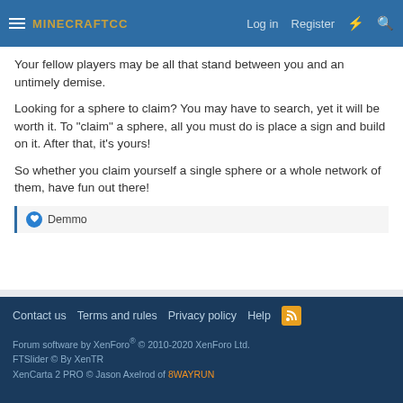MINECRAFTCC  Log in  Register
Your fellow players may be all that stand between you and an untimely demise.
Looking for a sphere to claim? You may have to search, yet it will be worth it. To "claim" a sphere, all you must do is place a sign and build on it. After that, it's yours!
So whether you claim yourself a single sphere or a whole network of them, have fun out there!
Demmo
Legacy Worlds
Contact us  Terms and rules  Privacy policy  Help
Forum software by XenForo® © 2010-2020 XenForo Ltd.
FTSlider © By XenTR
XenCarta 2 PRO © Jason Axelrod of 8WAYRUN